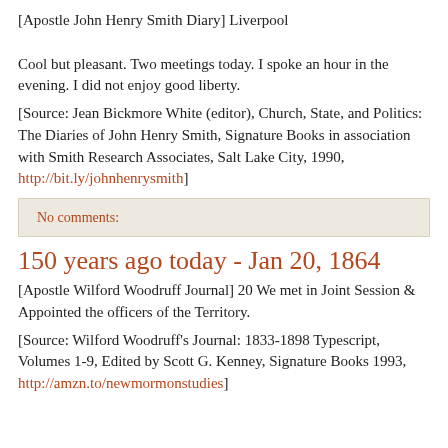[Apostle John Henry Smith Diary] Liverpool

Cool but pleasant. Two meetings today. I spoke an hour in the evening. I did not enjoy good liberty.
[Source: Jean Bickmore White (editor), Church, State, and Politics: The Diaries of John Henry Smith, Signature Books in association with Smith Research Associates, Salt Lake City, 1990, http://bit.ly/johnhenrysmith]
No comments:
150 years ago today - Jan 20, 1864
[Apostle Wilford Woodruff Journal] 20 We met in Joint Session & Appointed the officers of the Territory.
[Source: Wilford Woodruff's Journal: 1833-1898 Typescript, Volumes 1-9, Edited by Scott G. Kenney, Signature Books 1993, http://amzn.to/newmormonstudies]